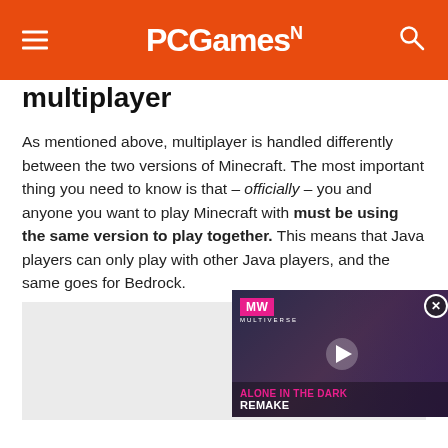PCGamesN
multiplayer
As mentioned above, multiplayer is handled differently between the two versions of Minecraft. The most important thing you need to know is that – officially – you and anyone you want to play Minecraft with must be using the same version to play together. This means that Java players can only play with other Java players, and the same goes for Bedrock.
[Figure (screenshot): Video player popup overlay showing 'Alone in the Dark Remake' with MW logo badge, play button, and dark cinematic background with a figure. A close button (X) is visible in the top right corner.]